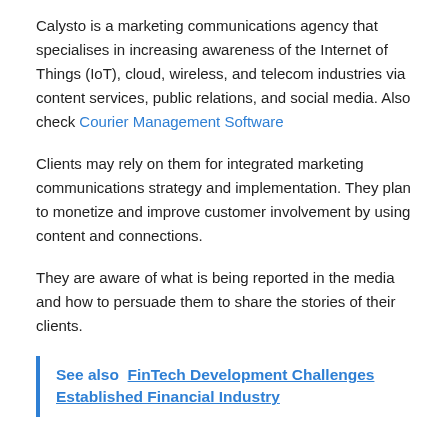Calysto is a marketing communications agency that specialises in increasing awareness of the Internet of Things (IoT), cloud, wireless, and telecom industries via content services, public relations, and social media. Also check Courier Management Software
Clients may rely on them for integrated marketing communications strategy and implementation. They plan to monetize and improve customer involvement by using content and connections.
They are aware of what is being reported in the media and how to persuade them to share the stories of their clients.
See also  FinTech Development Challenges Established Financial Industry